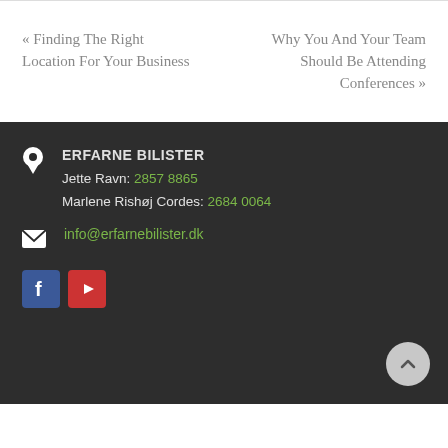« Finding The Right Location For Your Business
Why You And Your Team Should Be Attending Conferences »
ERFARNE BILISTER
Jette Ravn: 2857 8865
Marlene Rishøj Cordes: 2684 0064
info@erfarnebilister.dk
[Figure (other): Facebook icon button (blue) and YouTube icon button (red) in the footer]
[Figure (other): Back to top arrow button (grey circle with upward chevron)]